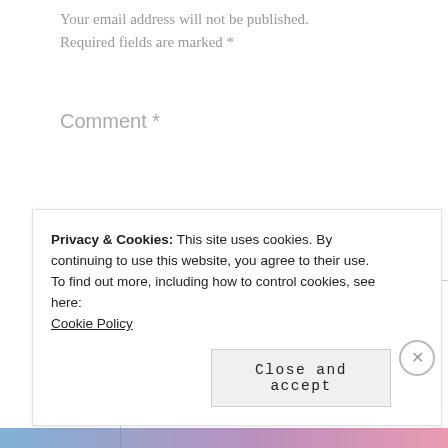Your email address will not be published. Required fields are marked *
Comment *
[Figure (other): Empty comment text area input box with resize handle]
Privacy & Cookies: This site uses cookies. By continuing to use this website, you agree to their use.
To find out more, including how to control cookies, see here:
Cookie Policy
Close and accept